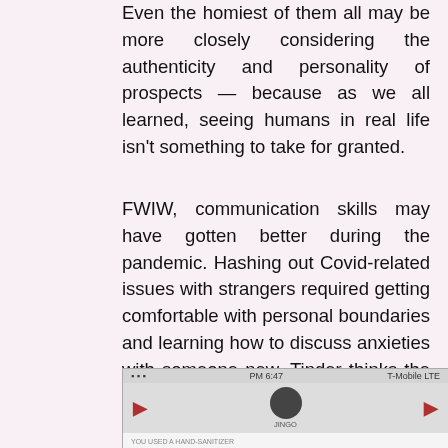Even the homiest of them all may be more closely considering the authenticity and personality of prospects — because as we all learned, seeing humans in real life isn't something to take for granted.
FWIW, communication skills may have gotten better during the pandemic. Hashing out Covid-related issues with strangers required getting comfortable with personal boundaries and learning how to discuss anxieties with someone new. Tinder thinks the honesty will carry over when things are back to normal, and hopefully the assholes will continue to weed themselves out.
[Figure (screenshot): A mirrored/flipped screenshot of a Tinder or dating app chat interface showing a message bubble and profile.]